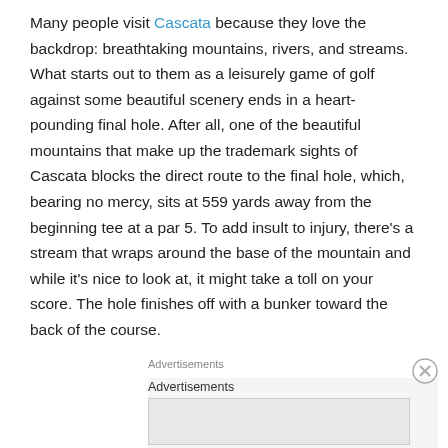Many people visit Cascata because they love the backdrop: breathtaking mountains, rivers, and streams. What starts out to them as a leisurely game of golf against some beautiful scenery ends in a heart-pounding final hole. After all, one of the beautiful mountains that make up the trademark sights of Cascata blocks the direct route to the final hole, which, bearing no mercy, sits at 559 yards away from the beginning tee at a par 5. To add insult to injury, there's a stream that wraps around the base of the mountain and while it's nice to look at, it might take a toll on your score. The hole finishes off with a bunker toward the back of the course.
Advertisements